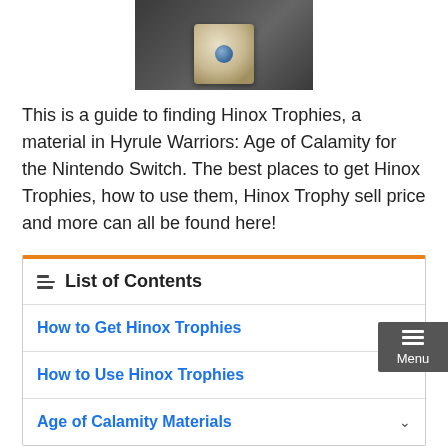[Figure (photo): Photo of a Hinox Trophy item from Hyrule Warriors: Age of Calamity, showing a blue gem/stone on a silver stand displayed against a dark background]
This is a guide to finding Hinox Trophies, a material in Hyrule Warriors: Age of Calamity for the Nintendo Switch. The best places to get Hinox Trophies, how to use them, Hinox Trophy sell price and more can all be found here!
List of Contents
How to Get Hinox Trophies
How to Use Hinox Trophies
Age of Calamity Materials